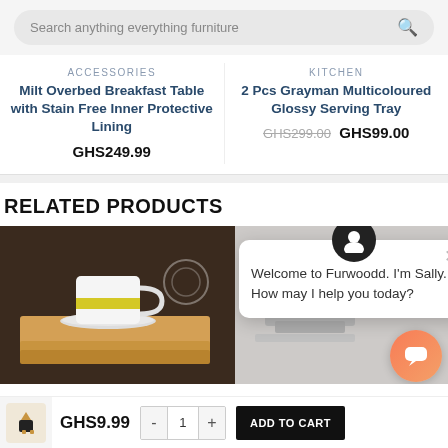Search anything everything furniture
ACCESSORIES
Milt Overbed Breakfast Table with Stain Free Inner Protective Lining
GHS249.99
KITCHEN
2 Pcs Grayman Multicoloured Glossy Serving Tray
GHS299.00 GHS99.00
RELATED PRODUCTS
[Figure (photo): Photo of a white cup with yellow stripe on a wooden tray/board]
[Figure (photo): Partially visible product photo on the right side with chat overlay]
Welcome to Furwoodd. I'm Sally. How may I help you today?
GHS9.99  - 1 + ADD TO CART